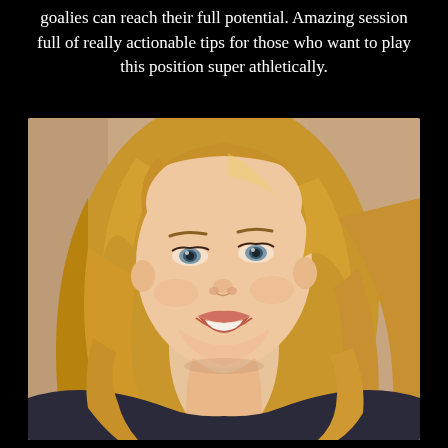goalies can reach their full potential. Amazing session full of really actionable tips for those who want to play this position super athletically.
[Figure (photo): Headshot photo of a young blonde woman smiling, with long wavy hair, against a neutral beige/tan background.]